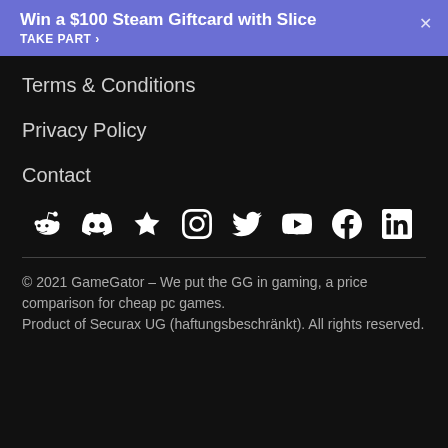Win a $100 Steam Giftcard with Slice
TAKE PART >
Terms & Conditions
Privacy Policy
Contact
[Figure (infographic): Social media icons row: Reddit, Discord, Star/Review, Instagram, Twitter, YouTube, Facebook, LinkedIn]
© 2021 GameGator – We put the GG in gaming, a price comparison for cheap pc games.
Product of Securax UG (haftungsbeschränkt). All rights reserved.